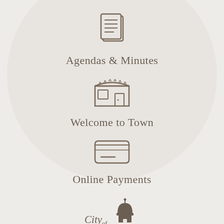[Figure (illustration): Icon of stacked document pages with lines representing text]
Agendas & Minutes
[Figure (illustration): Icon of a shop/market storefront with awning and display window]
Welcome to Town
[Figure (illustration): Icon of a credit/payment card with stripe and chip]
Online Payments
[Figure (logo): City of Montpelier logo with dome building silhouette]